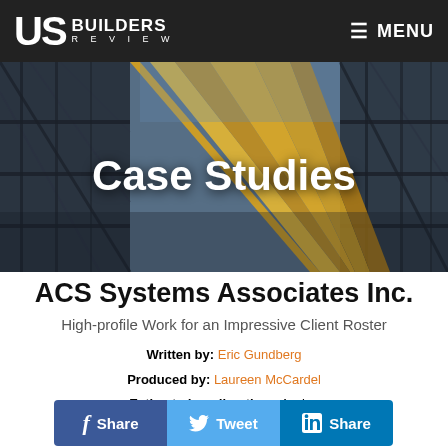US BUILDERS REVIEW | MENU
[Figure (photo): Construction crane photo with yellow structure and steel scaffolding against a blue sky, used as hero background image]
Case Studies
ACS Systems Associates Inc.
High-profile Work for an Impressive Client Roster
Written by: Eric Gundberg
Produced by: Laureen McCardel
Estimated reading time: 4 mins
f Share | Tweet | in Share